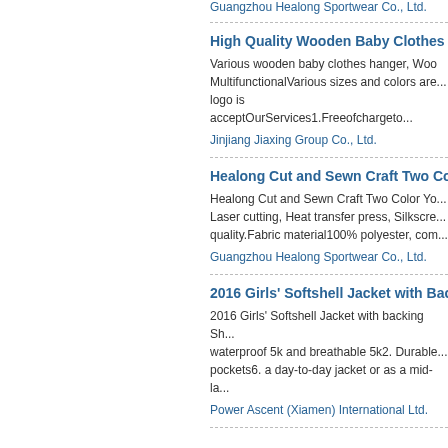Guangzhou Healong Sportwear Co., Ltd.
High Quality Wooden Baby Clothes Han...
Various wooden baby clothes hanger, Woo... MultifunctionalVarious sizes and colors are... logo is acceptOurServices1.Freeofchargeto...
Jinjiang Jiaxing Group Co., Ltd.
Healong Cut and Sewn Craft Two Color Y...
Healong Cut and Sewn Craft Two Color Yo... Laser cutting, Heat transfer press, Silkscre... quality.Fabric material100% polyester, com...
Guangzhou Healong Sportwear Co., Ltd.
2016 Girls' Softshell Jacket with Backing...
2016 Girls' Softshell Jacket with backing Sh... waterproof 5k and breathable 5k2. Durable... pockets6. a day-to-day jacket or as a mid-la...
Power Ascent (Xiamen) International Ltd.